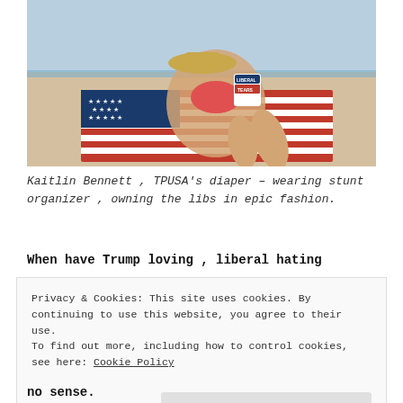[Figure (photo): A woman in a bikini lying on an American flag beach towel at the beach, holding a cup with 'Liberal Tears' text, wearing a straw hat.]
Kaitlin Bennett , TPUSA's diaper – wearing stunt organizer , owning the libs in epic fashion.
When have Trump loving , liberal hating
Privacy & Cookies: This site uses cookies. By continuing to use this website, you agree to their use.
To find out more, including how to control cookies, see here: Cookie Policy
no sense.